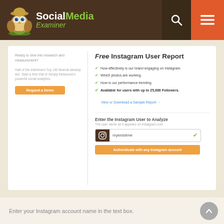[Figure (logo): Social Media Examiner logo with owl mascot and brand name]
Ready to dive into research and measurement?
Half of the Interbrand Top 100 Brands already are. Start a free trial of Simply Measured's powerful social analytics.
Request a Demo
Free Instagram User Report
How effectively is our brand engaging on Instagram.
Which photos are working.
How is our performance trending.
Available for users with up to 25,000 Followers.
View or Download a Sample Report →
Enter the Instagram User to Analyze
The user name as it appears on instagram.com
mykidstime
Authenticate with any Instagram account
Enter your Instagram account name in the text box.